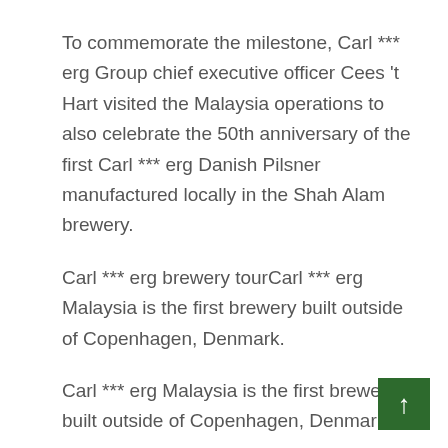To commemorate the milestone, Carl *** erg Group chief executive officer Cees 't Hart visited the Malaysia operations to also celebrate the 50th anniversary of the first Carl *** erg Danish Pilsner manufactured locally in the Shah Alam brewery.
Carl *** erg brewery tourCarl *** erg Malaysia is the first brewery built outside of Copenhagen, Denmark.
Carl *** erg Malaysia is the first brewery built outside of Copenhagen, Denmark.
“Malaysia is one of the key growth drivers in Asia for the group. I’m very proud that Carl *** erg Malaysia is agile, resilient and safely navigated the storm and emerged stronger than ever, throughout the pandemic.”
He noted that the second half of the year posed three